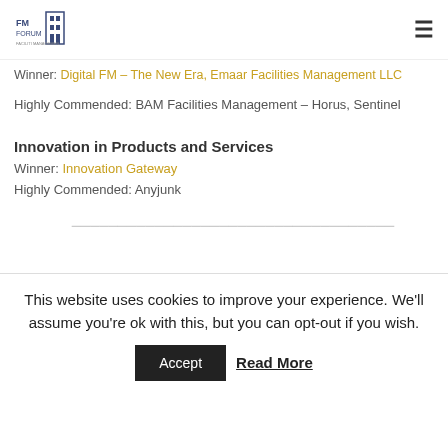FM Forum logo and navigation menu
Winner: Digital FM – The New Era, Emaar Facilities Management LLC
Highly Commended: BAM Facilities Management – Horus, Sentinel
Innovation in Products and Services
Winner: Innovation Gateway
Highly Commended: Anyjunk
(partial section header visible)
This website uses cookies to improve your experience. We'll assume you're ok with this, but you can opt-out if you wish.
Accept  Read More